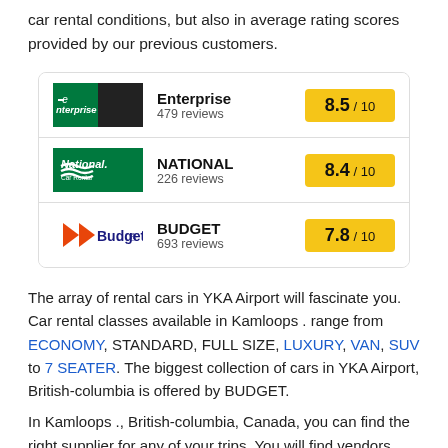car rental conditions, but also in average rating scores provided by our previous customers.
[Figure (infographic): Three car rental company cards: Enterprise (8.5/10, 479 reviews), National (8.4/10, 226 reviews), Budget (7.8/10, 693 reviews)]
The array of rental cars in YKA Airport will fascinate you. Car rental classes available in Kamloops . range from ECONOMY, STANDARD, FULL SIZE, LUXURY, VAN, SUV to 7 SEATER. The biggest collection of cars in YKA Airport, British-columbia is offered by BUDGET.
In Kamloops ., British-columbia, Canada, you can find the right supplier for any of your trips. You will find vendors